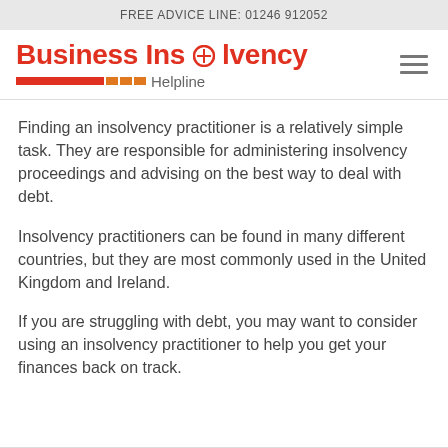FREE ADVICE LINE: 01246 912052
Business Insolvency Helpline
Finding an insolvency practitioner is a relatively simple task. They are responsible for administering insolvency proceedings and advising on the best way to deal with debt.
Insolvency practitioners can be found in many different countries, but they are most commonly used in the United Kingdom and Ireland.
If you are struggling with debt, you may want to consider using an insolvency practitioner to help you get your finances back on track.